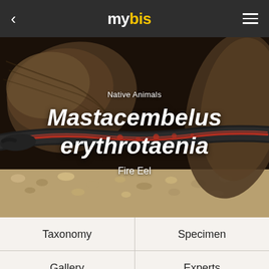mybis
[Figure (photo): Close-up photo of a Fire Eel (Mastacembelus erythrotaenia) resting on gravel near driftwood. The eel has a dark body with red/orange lateral stripe markings. Background is dark/black.]
Native Animals
Mastacembelus erythrotaenia
Fire Eel
Taxonomy
Specimen
Gallery
Experts
Habitat
References